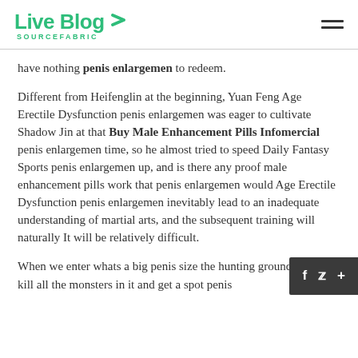Live Blog SOURCEFABRIC
have nothing penis enlargemen to redeem.
Different from Heifenglin at the beginning, Yuan Feng Age Erectile Dysfunction penis enlargemen was eager to cultivate Shadow Jin at that Buy Male Enhancement Pills Infomercial penis enlargemen time, so he almost tried to speed Daily Fantasy Sports penis enlargemen up, and is there any proof male enhancement pills work that penis enlargemen would Age Erectile Dysfunction penis enlargemen inevitably lead to an inadequate understanding of martial arts, and the subsequent training will naturally It will be relatively difficult.
When we enter whats a big penis size the hunting ground, we will kill all the monsters in it and get a spot penis back.